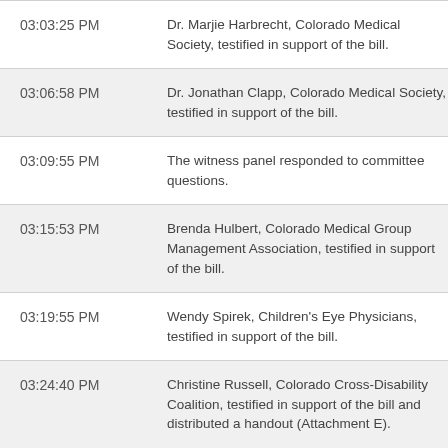| Time | Description |
| --- | --- |
| 03:03:25 PM | Dr. Marjie Harbrecht, Colorado Medical Society, testified in support of the bill. |
| 03:06:58 PM | Dr. Jonathan Clapp, Colorado Medical Society, testified in support of the bill. |
| 03:09:55 PM | The witness panel responded to committee questions. |
| 03:15:53 PM | Brenda Hulbert, Colorado Medical Group Management Association, testified in support of the bill. |
| 03:19:55 PM | Wendy Spirek, Children's Eye Physicians, testified in support of the bill. |
| 03:24:40 PM | Christine Russell, Colorado Cross-Disability Coalition, testified in support of the bill and distributed a handout (Attachment E). |